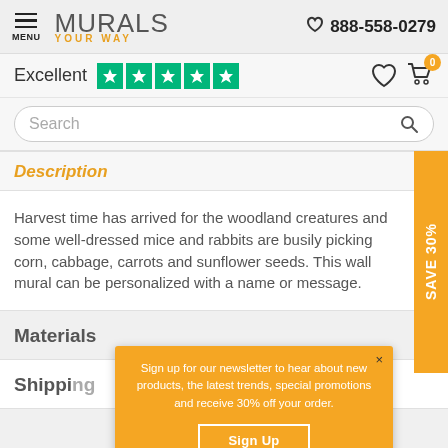MURALS YOUR WAY | 888-558-0279
Excellent ★★★★★
Search
Description
Harvest time has arrived for the woodland creatures and some well-dressed mice and rabbits are busily picking corn, cabbage, carrots and sunflower seeds. This wall mural can be personalized with a name or message.
Materials
Shipping
Sign up for our newsletter to hear about new products, the latest trends, special promotions and receive 30% off your order.
Sign Up
No thanks